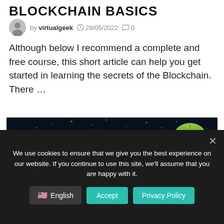BLOCKCHAIN BASICS
by virtualgeek  29/05/2022  0
Although below I recommend a complete and free course, this short article can help you get started in learning the secrets of the Blockchain. There …
[Figure (illustration): Dark background image with glowing orb and blockchain-related imagery, Virtual Geek logo in top right corner]
We use cookies to ensure that we give you the best experience on our website. If you continue to use this site, we'll assume that you are happy with it.